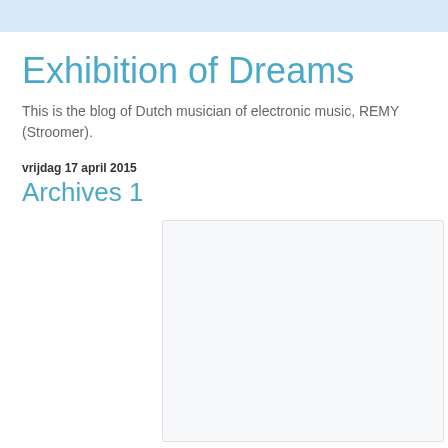Exhibition of Dreams
This is the blog of Dutch musician of electronic music, REMY (Stroomer).
vrijdag 17 april 2015
Archives 1
[Figure (other): Empty white rectangular image placeholder with light border]